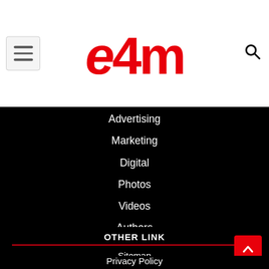[Figure (logo): e4m logo in red with hamburger menu icon on left and search icon on right, white header bar]
Advertising
Marketing
Digital
Photos
Videos
Authors
Editorial Team
Contact Us
OTHER LINK
Sitemap
Privacy Policy
Term & Condition